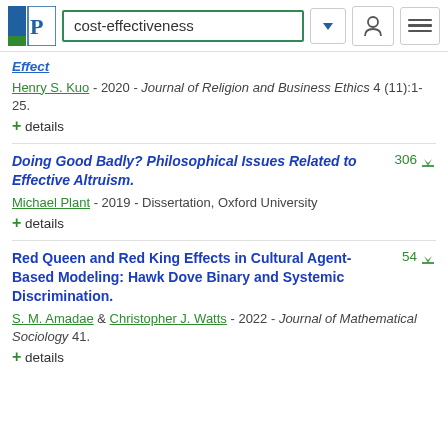cost-effectiveness
Effect
Henry S. Kuo - 2020 - Journal of Religion and Business Ethics 4 (11):1-25.
+ details
Doing Good Badly? Philosophical Issues Related to Effective Altruism.
Michael Plant - 2019 - Dissertation, Oxford University
+ details
Red Queen and Red King Effects in Cultural Agent-Based Modeling: Hawk Dove Binary and Systemic Discrimination.
S. M. Amadae & Christopher J. Watts - 2022 - Journal of Mathematical Sociology 41.
+ details